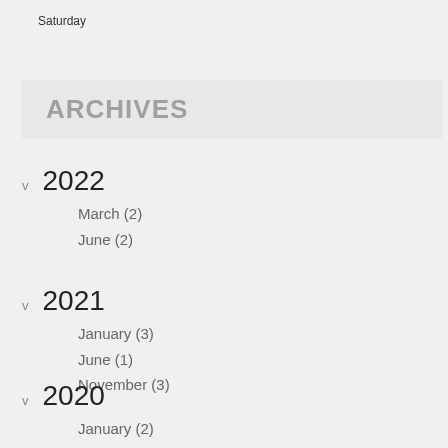Saturday
ARCHIVES
v 2022
March (2)
June (2)
v 2021
January (3)
June (1)
November (3)
v 2020
January (2)
April (5)
v 2019
February (3)